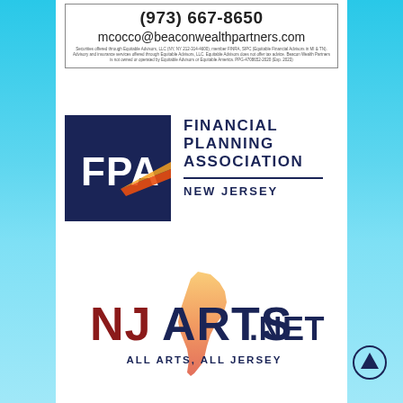[Figure (other): Advertisement box with phone number (973) 667-8650, email mcocco@beaconwealthpartners.com, and fine print disclaimer about Equitable Advisors securities.]
[Figure (logo): Financial Planning Association logo — dark navy square with 'FPA' text and orange streak, beside bold text reading 'FINANCIAL PLANNING ASSOCIATION' with horizontal rule and 'NEW JERSEY' below.]
[Figure (logo): NJArts.net logo — 'NJ' in dark red, 'ARTS' in dark navy, '.NET' in smaller navy text, with NJ state silhouette in orange/red gradient and tagline 'All Arts, All Jersey'.]
[Figure (other): Circular up-arrow navigation button, dark navy outline with upward-pointing arrow inside.]